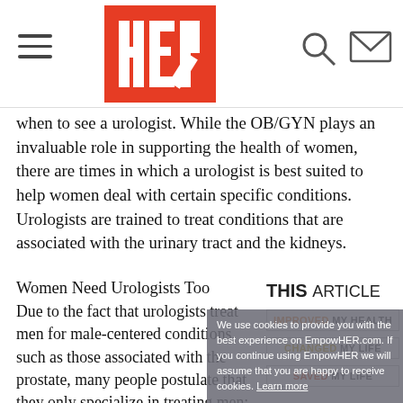HER (logo)
when to see a urologist. While the OB/GYN plays an invaluable role in supporting the health of women, there are times in which a urologist is best suited to help women deal with certain specific conditions. Urologists are trained to treat conditions that are associated with the urinary tract and the kidneys.
Women Need Urologists Too
Due to the fact that urologists treat men for male-centered conditions, such as those associated with the prostate, many people postulate that they only specialize in treating men; however, the fact that they focus on the urinary tract, and a number of other systems, muscles, tubes and organs, including the kidneys, illuminate the fact that urologists can be just as beneficial for women as they are for men.
THIS ARTICLE
IMPROVED MY HEALTH
CHANGED MY LIFE
SAVED MY LIFE
We use cookies to provide you with the best experience on EmpowHER.com. If you continue using EmpowHER we will assume that you are happy to receive cookies. Learn more